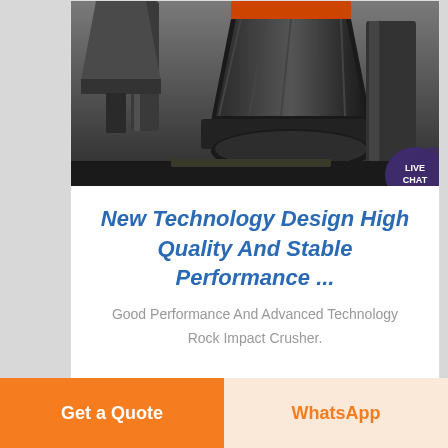[Figure (photo): Industrial rock crusher / impact crusher machinery in a factory setting, heavy equipment with pipes and hoppers]
New Technology Design High Quality And Stable Performance ...
Good Performance And Advanced Technology Rock Impact Crusher.
impact crusher from good performance and
[Figure (photo): Second industrial crusher machinery image, partially visible]
Get a Quote
WhatsApp